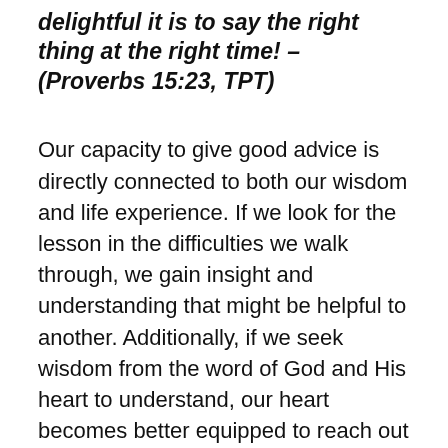delightful it is to say the right thing at the right time! – (Proverbs 15:23, TPT)
Our capacity to give good advice is directly connected to both our wisdom and life experience. If we look for the lesson in the difficulties we walk through, we gain insight and understanding that might be helpful to another. Additionally, if we seek wisdom from the word of God and His heart to understand, our heart becomes better equipped to reach out and speak life to another. The incredible peace found in this is that God will use a willing heart to give the right words at the right time. In as much as the words are intended to